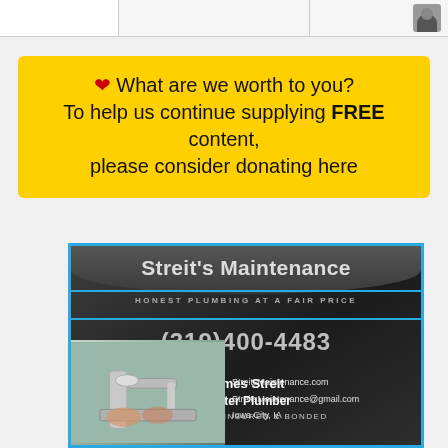❤ What are we worth to you? To help us continue supplying FREE content, please consider donating here
[Figure (infographic): Streit's Maintenance advertisement. Dark textured background with blue border. Company name 'Streit's Maintenance', tagline 'HONEST PLUMBING AT A FAIR PRICE', phone number (319)400-4483, James Streit, Master Plumber, LICENSED, INSURED & BONDED, StreitsMaintenance.com, StreitsMaintenance@gmail.com, Iowa City, IA. Plumbing fixture image in bottom left.]